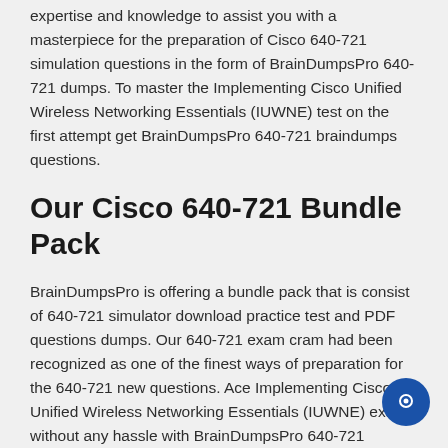expertise and knowledge to assist you with a masterpiece for the preparation of Cisco 640-721 simulation questions in the form of BrainDumpsPro 640-721 dumps. To master the Implementing Cisco Unified Wireless Networking Essentials (IUWNE) test on the first attempt get BrainDumpsPro 640-721 braindumps questions.
Our Cisco 640-721 Bundle Pack
BrainDumpsPro is offering a bundle pack that is consist of 640-721 simulator download practice test and PDF questions dumps. Our 640-721 exam cram had been recognized as one of the finest ways of preparation for the 640-721 new questions. Ace Implementing Cisco Unified Wireless Networking Essentials (IUWNE) exam without any hassle with BrainDumpsPro 640-721 dumps. With the help of our 640-721 pdf download test cram, you can easily focus on all the topics of the Implementing Cisco Unified Wireless Networking Essentials (IUWNE) exam. Our 640-721 braindumps cheat sheet